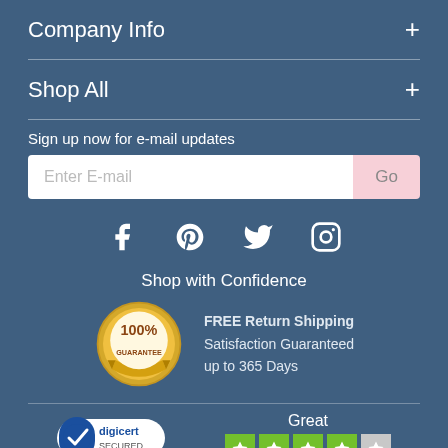Company Info
Shop All
Sign up now for e-mail updates
Enter E-mail / Go
[Figure (infographic): Social media icons: Facebook, Pinterest, Twitter, Instagram]
Shop with Confidence
[Figure (other): 100% Guarantee badge with FREE Return Shipping, Satisfaction Guaranteed up to 365 Days]
FREE Return Shipping
Satisfaction Guaranteed
up to 365 Days
[Figure (logo): DigiCert Secured badge and Trustpilot Great rating with 4 stars]
Great